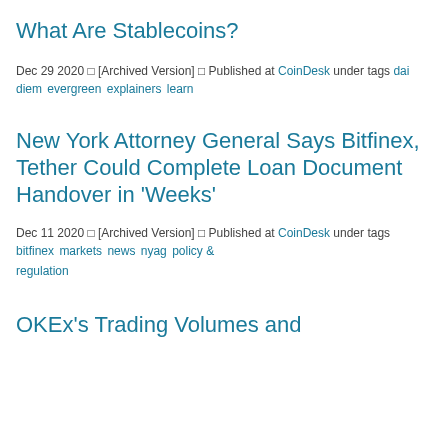What Are Stablecoins?
Dec 29 2020 □ [Archived Version] □ Published at CoinDesk under tags  dai diem evergreen explainers learn
New York Attorney General Says Bitfinex, Tether Could Complete Loan Document Handover in 'Weeks'
Dec 11 2020 □ [Archived Version] □ Published at CoinDesk under tags  bitfinex markets news nyag policy & regulation
OKEx's Trading Volumes and